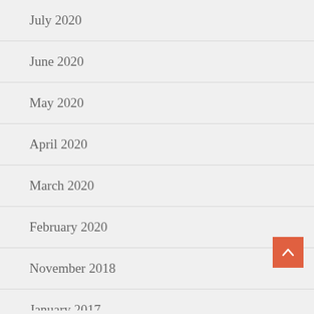July 2020
June 2020
May 2020
April 2020
March 2020
February 2020
November 2018
January 2017